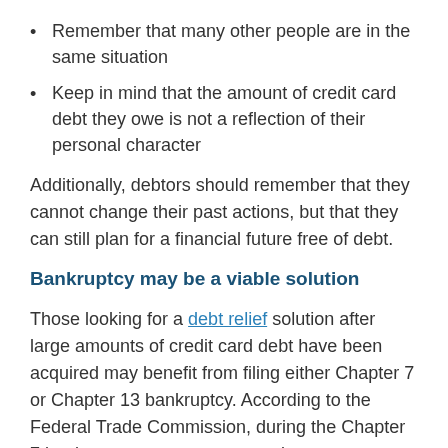Remember that many other people are in the same situation
Keep in mind that the amount of credit card debt they owe is not a reflection of their personal character
Additionally, debtors should remember that they cannot change their past actions, but that they can still plan for a financial future free of debt.
Bankruptcy may be a viable solution
Those looking for a debt relief solution after large amounts of credit card debt have been acquired may benefit from filing either Chapter 7 or Chapter 13 bankruptcy. According to the Federal Trade Commission, during the Chapter 7 bankruptcy process, a person's non-exempt assets may be sold